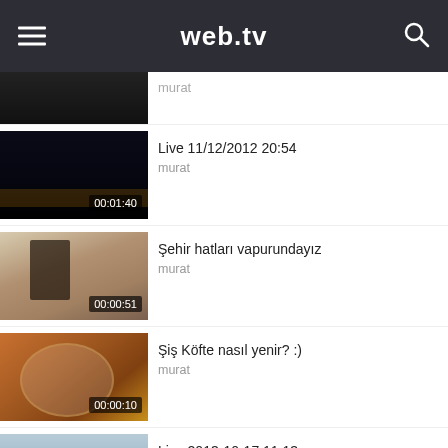web.tv
[Figure (screenshot): Partial video thumbnail (dark, stadium/crowd scene) with duration 00:05:30, label murat (partially visible)]
[Figure (screenshot): Video thumbnail (dark night scene) — Live 11/12/2012 20:54, murat, duration 00:01:40]
[Figure (screenshot): Video thumbnail (ferry interior scene) — Şehir hatları vapurundayız, murat, duration 00:00:51]
[Figure (screenshot): Video thumbnail (food/plate scene) — Şiş Köfte nasıl yenir? :), murat, duration 00:00:10]
[Figure (screenshot): Video thumbnail (sky/outdoor scene) — Live 2013-10-17 11:13, murat, duration 00:00:30 (partially visible)]